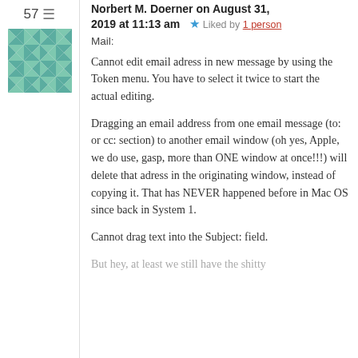57 — comment header with avatar
Norbert M. Doerner on August 31, 2019 at 11:13 am  ★ Liked by 1 person
Mail:
Cannot edit email adress in new message by using the Token menu. You have to select it twice to start the actual editing.
Dragging an email address from one email message (to: or cc: section) to another email window (oh yes, Apple, we do use, gasp, more than ONE window at once!!!) will delete that adress in the originating window, instead of copying it. That has NEVER happened before in Mac OS since back in System 1.
Cannot drag text into the Subject: field.
But hey, at least we still have the shitty